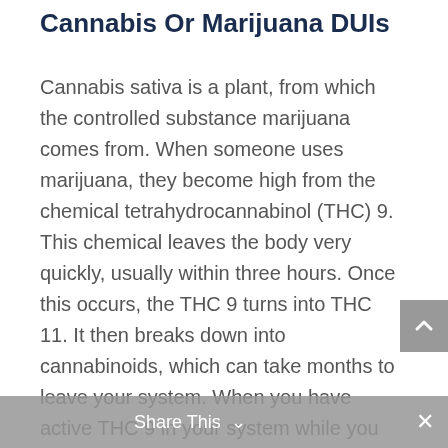Cannabis Or Marijuana DUIs
Cannabis sativa is a plant, from which the controlled substance marijuana comes from. When someone uses marijuana, they become high from the chemical tetrahydrocannabinol (THC) 9. This chemical leaves the body very quickly, usually within three hours. Once this occurs, the THC 9 turns into THC 11. It then breaks down into cannabinoids, which can take months to leave your system. When you have active THC 9 in your system while you are driving, you may be charged with a DUI depending on the level of THC 9
Share This ∨  ×